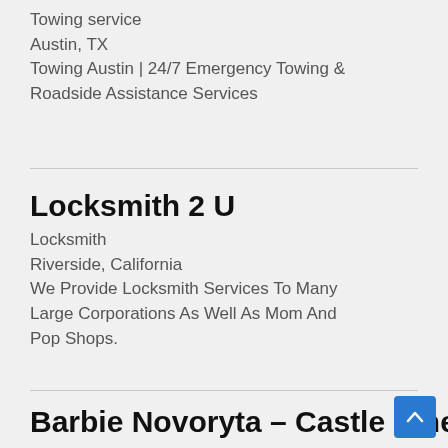Towing service
Austin, TX
Towing Austin | 24/7 Emergency Towing & Roadside Assistance Services
Locksmith 2 U
Locksmith
Riverside, California
We Provide Locksmith Services To Many Large Corporations As Well As Mom And Pop Shops.
Barbie Novoryta – Castle Pines Realty